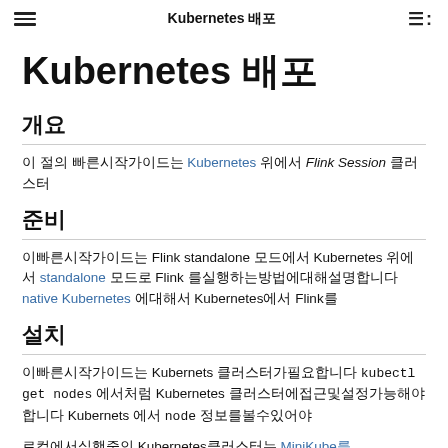Kubernetes 배포
Kubernetes 배포
개요
이 절의 빠른시작가이드는 Kubernetes 위에서 Flink Session 클러스터
준비
이빠른시작가이드는 Flink standalone 모드에서 Kubernetes 위에서 standalone 모드로 Flink 를실행하는방법에대해설명합니다 native Kubernetes 에대해서 Kubernetes에서 Flink를
설치
이빠른시작가이드는 Kubernets 클러스터가필요합니다 kubectl get nodes 에서처럼 Kubernetes 클러스터에접근및설정가능해야합니다 Kubernets 에서 node 정보를볼수있어야
로컬에서실행중인 Kubernetes클러스터는 MiniKube를